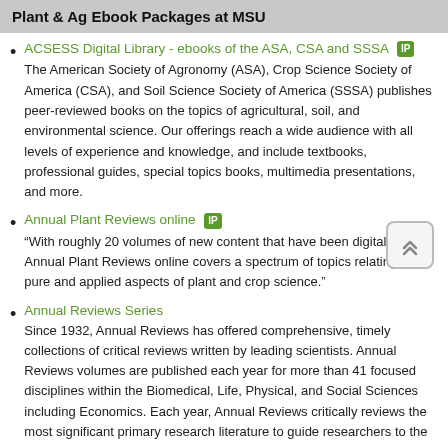Plant & Ag Ebook Packages at MSU
ACSESS Digital Library - ebooks of the ASA, CSA and SSSA [IP] The American Society of Agronomy (ASA), Crop Science Society of America (CSA), and Soil Science Society of America (SSSA) publishes peer-reviewed books on the topics of agricultural, soil, and environmental science. Our offerings reach a wide audience with all levels of experience and knowledge, and include textbooks, professional guides, special topics books, multimedia presentations, and more.
Annual Plant Reviews online [IP] “With roughly 20 volumes of new content that have been digitalized, Annual Plant Reviews online covers a spectrum of topics relating to pure and applied aspects of plant and crop science.”
Annual Reviews Series Since 1932, Annual Reviews has offered comprehensive, timely collections of critical reviews written by leading scientists. Annual Reviews volumes are published each year for more than 41 focused disciplines within the Biomedical, Life, Physical, and Social Sciences including Economics. Each year, Annual Reviews critically reviews the most significant primary research literature to guide researchers to the